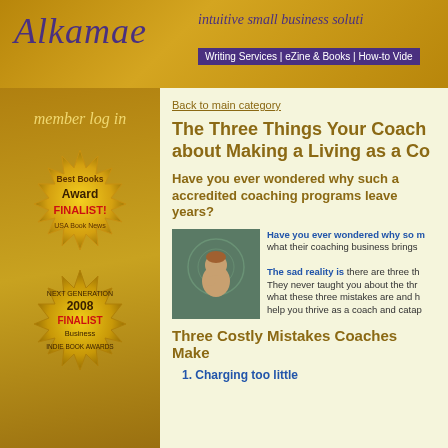[Figure (logo): Alkamae logo with decorative horse/dragon, italic purple text, gold background]
intuitive small business solutions | Writing Services | eZine & Books | How-to Videos
member log in
[Figure (illustration): Best Books Award FINALIST! USA Book News gold seal badge]
[Figure (illustration): Next Generation 2008 FINALIST Indie Book Awards Business gold seal badge]
Back to main category
The Three Things Your Coach Didn't Tell You about Making a Living as a Coach
Have you ever wondered why such a large percentage of accredited coaching programs leave coaches broke after years?
[Figure (photo): Woman with hand on chin thinking, teal background with circular design]
Have you ever wondered why so many coaches aren't earning what their coaching business brings them. The sad reality is there are three things your coach didn't tell you. They never taught you about the three big mistakes. Find out what these three mistakes are and how to avoid them so you can help you thrive as a coach and catapult your success.
Three Costly Mistakes Coaches Make
1. Charging too little